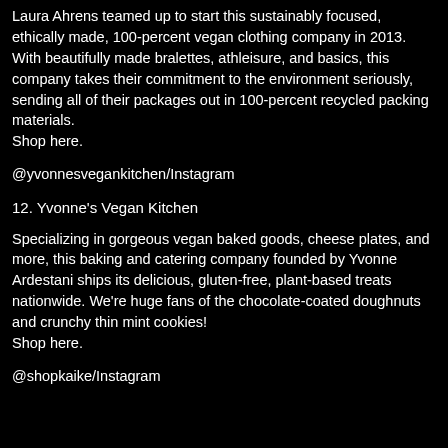Laura Ahrens teamed up to start this sustainably focused, ethically made, 100-percent vegan clothing company in 2013. With beautifully made bralettes, athleisure, and basics, this company takes their commitment to the environment seriously, sending all of their packages out in 100-percent recycled packing materials.
Shop here.
@yvonnesvegankitchen/Instagram
12. Yvonne's Vegan Kitchen
Specializing in gorgeous vegan baked goods, cheese plates, and more, this baking and catering company founded by Yvonne Ardestani ships its delicious, gluten-free, plant-based treats nationwide. We're huge fans of the chocolate-coated doughnuts and crunchy thin mint cookies!
Shop here.
@shopkaike/Instagram